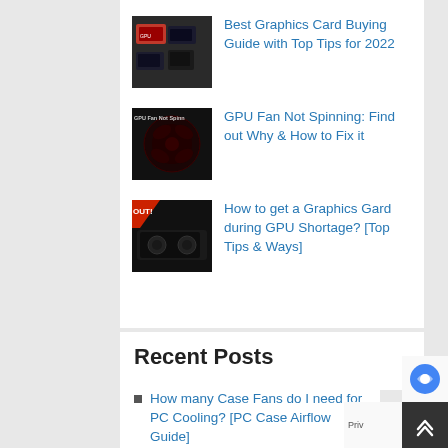Best Graphics Card Buying Guide with Top Tips for 2022
GPU Fan Not Spinning: Find out Why & How to Fix it
How to get a Graphics Gard during GPU Shortage? [Top Tips & Ways]
Recent Posts
How many Case Fans do I need for PC Cooling? [PC Case Airflow Guide]